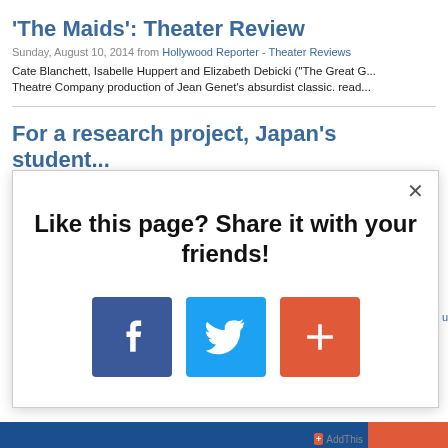'The Maids': Theater Review
Sunday, August 10, 2014 from Hollywood Reporter - Theater Reviews
Cate Blanchett, Isabelle Huppert and Elizabeth Debicki ("The Great G... Theatre Company production of Jean Genet's absurdist classic. read...
For a research project, Japan's student...
[Figure (screenshot): Modal popup overlay with text 'Like this page? Share it with your friends!' and Facebook, Twitter, and Google+ share buttons. A close (x) button is in the top right of the modal. AddThis branding in bottom right corner.]